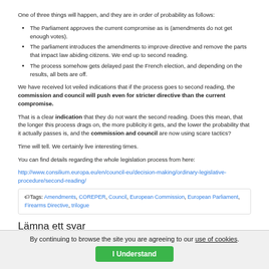One of three things will happen, and they are in order of probability as follows:
The Parliament approves the current compromise as is (amendments do not get enough votes).
The parliament introduces the amendments to improve directive and remove the parts that impact law abiding citizens. We end up to second reading.
The process somehow gets delayed past the French election, and depending on the results, all bets are off.
We have received lot veiled indications that if the process goes to second reading, the commission and council will push even for stricter directive than the current compromise.
That is a clear indication that they do not want the second reading. Does this mean, that the longer this process drags on, the more publicity it gets, and the lower the probability that it actually passes is, and the commission and council are now using scare tactics?
Time will tell. We certainly live interesting times.
You can find details regarding the whole legislation process from here:
http://www.consilium.europa.eu/en/council-eu/decision-making/ordinary-legislative-procedure/second-reading/
Tags: Amendments, COREPER, Council, European Commission, European Parliament, Firearms Directive, trilogue
Lämna ett svar
By continuing to browse the site you are agreeing to our use of cookies. I Understand